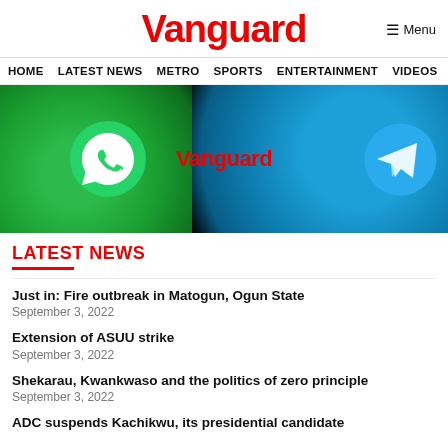Vanguard
HOME  LATEST NEWS  METRO  SPORTS  ENTERTAINMENT  VIDEOS
[Figure (photo): Hero image showing WhatsApp and Telegram app icons on dark background with Vanguard watermark in red]
LATEST NEWS
Just in: Fire outbreak in Matogun, Ogun State
September 3, 2022
Extension of ASUU strike
September 3, 2022
Shekarau, Kwankwaso and the politics of zero principle
September 3, 2022
ADC suspends Kachikwu, its presidential candidate